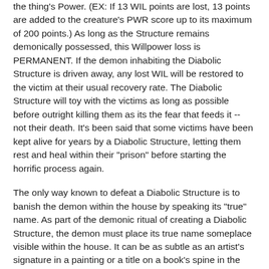the thing's Power. (EX: If 13 WIL points are lost, 13 points are added to the creature's PWR score up to its maximum of 200 points.) As long as the Structure remains demonically possessed, this Willpower loss is PERMANENT. If the demon inhabiting the Diabolic Structure is driven away, any lost WIL will be restored to the victim at their usual recovery rate. The Diabolic Structure will toy with the victims as long as possible before outright killing them as its the fear that feeds it -- not their death. It's been said that some victims have been kept alive for years by a Diabolic Structure, letting them rest and heal within their "prison" before starting the horrific process again.
The only way known to defeat a Diabolic Structure is to banish the demon within the house by speaking its "true" name. As part of the demonic ritual of creating a Diabolic Structure, the demon must place its true name someplace visible within the house. It can be as subtle as an artist's signature in a painting or a title on a book's spine in the library. If a victim recognizes the name for what it is and identifies the demon by saying that name aloud, the demon will be driven from the home permanently.